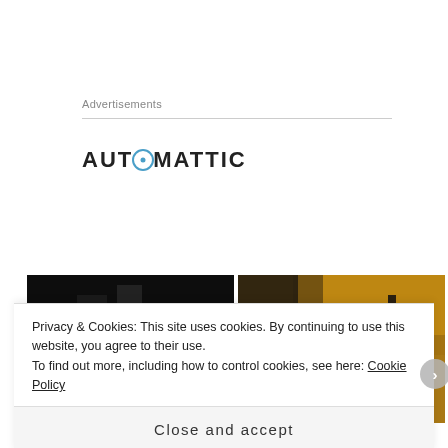Advertisements
[Figure (logo): Automattic logo with compass-style 'O' in teal/blue]
[Figure (photo): Two dark cinematic image thumbnails side by side]
Privacy & Cookies: This site uses cookies. By continuing to use this website, you agree to their use.
To find out more, including how to control cookies, see here: Cookie Policy
Close and accept